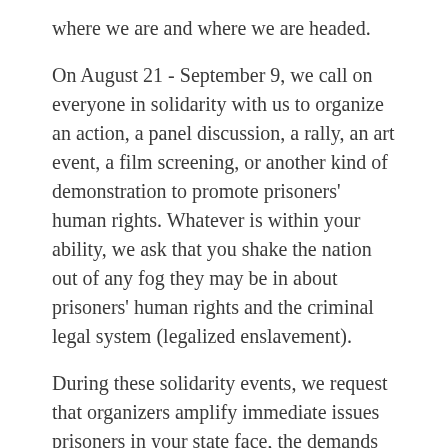where we are and where we are headed.
On August 21 - September 9, we call on everyone in solidarity with us to organize an action, a panel discussion, a rally, an art event, a film screening, or another kind of demonstration to promote prisoners' human rights. Whatever is within your ability, we ask that you shake the nation out of any fog they may be in about prisoners' human rights and the criminal legal system (legalized enslavement).
During these solidarity events, we request that organizers amplify immediate issues prisoners in your state face, the demands from the National Prison Strike of 2018, and uplift Jailhouse Lawyers Speak new International Law Project.
We've started the International Law Project to